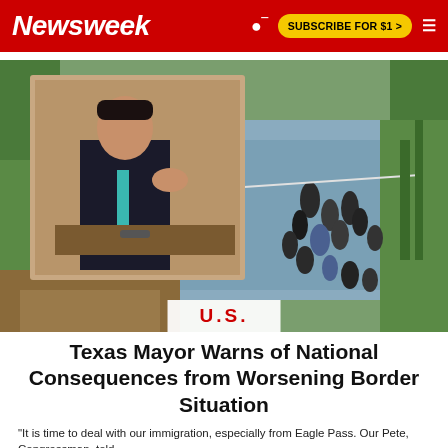Newsweek
[Figure (photo): Main image showing migrants wading through a river at the US-Mexico border, with an inset photo of a man in a suit (Texas mayor) speaking at a desk with flags in the background.]
U.S.
Texas Mayor Warns of National Consequences from Worsening Border Situation
"It is time to deal with our immigration, especially from Eagle Pass. Our Pete, Congressman, told ...